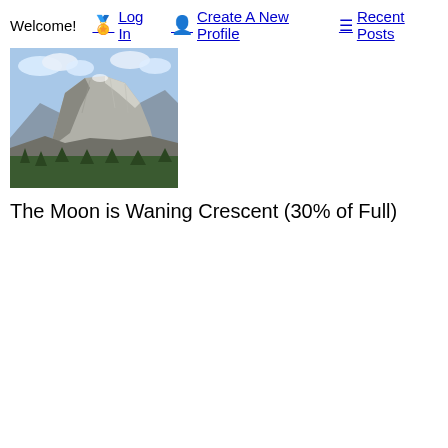Welcome!   Log In   Create A New Profile   Recent Posts
[Figure (photo): Photograph of Half Dome in Yosemite National Park, showing the granite rock face against a blue sky with clouds and forested slopes below.]
The Moon is Waning Crescent (30% of Full)